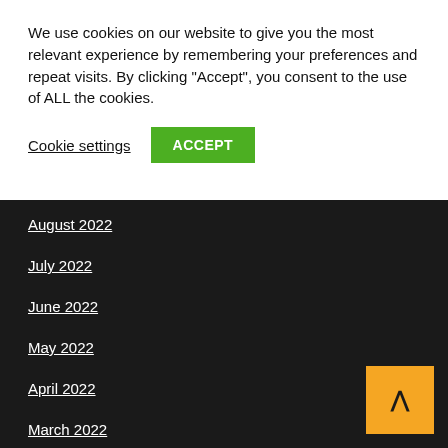We use cookies on our website to give you the most relevant experience by remembering your preferences and repeat visits. By clicking "Accept", you consent to the use of ALL the cookies.
Cookie settings
ACCEPT
August 2022
July 2022
June 2022
May 2022
April 2022
March 2022
February 2022
January 2022
December 2021